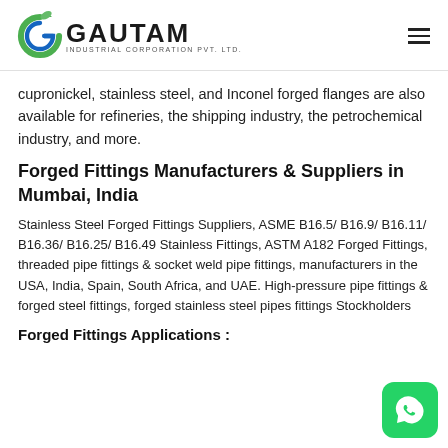GAUTAM INDUSTRIAL CORPORATION PVT. LTD.
cupronickel, stainless steel, and Inconel forged flanges are also available for refineries, the shipping industry, the petrochemical industry, and more.
Forged Fittings Manufacturers & Suppliers in Mumbai, India
Stainless Steel Forged Fittings Suppliers, ASME B16.5/ B16.9/ B16.11/ B16.36/ B16.25/ B16.49 Stainless Fittings, ASTM A182 Forged Fittings, threaded pipe fittings & socket weld pipe fittings, manufacturers in the USA, India, Spain, South Africa, and UAE. High-pressure pipe fittings & forged steel fittings, forged stainless steel pipes fittings Stockholders
Forged Fittings Applications :